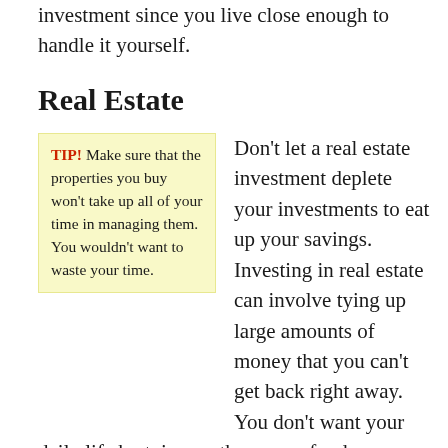have better control of your investment since you live close enough to handle it yourself.
Real Estate
TIP! Make sure that the properties you buy won't take up all of your time in managing them. You wouldn't want to waste your time.
Don't let a real estate investment deplete your investments to eat up your savings. Investing in real estate can involve tying up large amounts of money that you can't get back right away. You don't want your daily life by tying up the wrong funds.